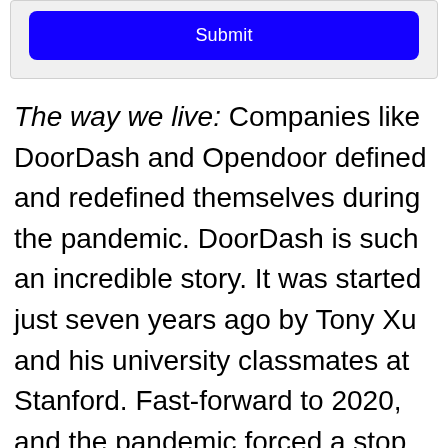[Figure (screenshot): Blue Submit button inside a light gray form container at the top of the page]
The way we live: Companies like DoorDash and Opendoor defined and redefined themselves during the pandemic. DoorDash is such an incredible story. It was started just seven years ago by Tony Xu and his university classmates at Stanford. Fast-forward to 2020, and the pandemic forced a stop to
Rethinking your workspace?
[Figure (screenshot): Blue Get in touch button at the bottom of the page]